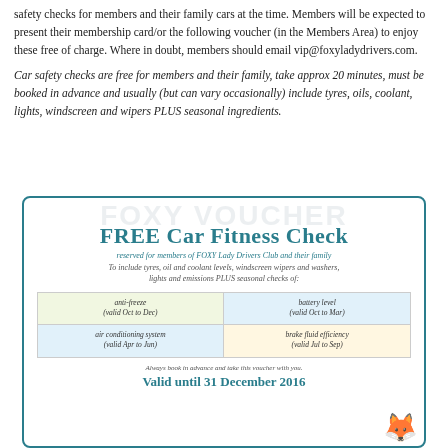safety checks for members and their family cars at the time. Members will be expected to present their membership card/or the following voucher (in the Members Area) to enjoy these free of charge. Where in doubt, members should email vip@foxyladydrivers.com.
Car safety checks are free for members and their family, take approx 20 minutes, must be booked in advance and usually (but can vary occasionally) include tyres, oils, coolant, lights, windscreen and wipers PLUS seasonal ingredients.
[Figure (other): Foxy Voucher for FREE Car Fitness Check, reserved for members of FOXY Lady Drivers Club and their family. Includes anti-freeze (valid Oct to Dec), battery level (valid Oct to Mar), air conditioning system (valid Apr to Jun), brake fluid efficiency (valid Jul to Sep). Valid until 31 December 2016.]